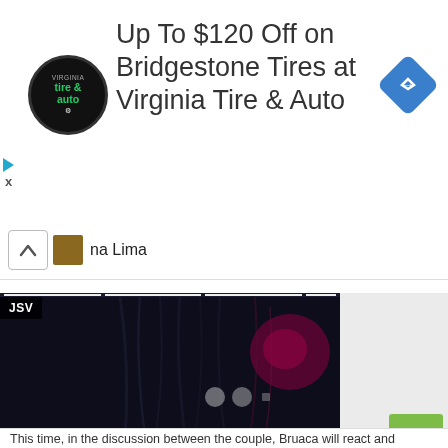[Figure (screenshot): Advertisement banner for Virginia Tire & Auto with logo, text 'Up To $120 Off on Bridgestone Tires at Virginia Tire & Auto', and a blue diamond navigation icon.]
na Lima
[Figure (screenshot): Video thumbnail showing a dark scene with teal/blue bokeh lights and hair, with JSV badge and progress indicator dots. Right side is a light gray sidebar.]
This time, in the discussion between the couple, Bruaca will react and